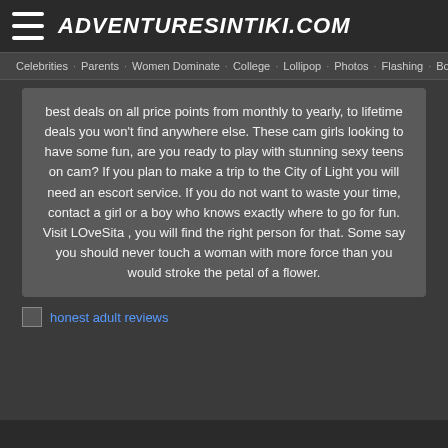ADVENTURESINTIKI.COM
Celebrities · Parents · Women Dominate · College · Lollipop · Photos · Flashing · Bondage
best deals on all price points from monthly to yearly, to lifetime deals you won't find anywhere else. These cam girls looking to have some fun, are you ready to play with stunning sexy teens on cam? If you plan to make a trip to the City of Light you will need an escort service. If you do not want to waste your time, contact a girl or a boy who knows exactly where to go for fun. Visit LOveSita , you will find the right person for that. Some say you should never touch a woman with more force than you would stroke the petal of a flower.
honest adult reviews